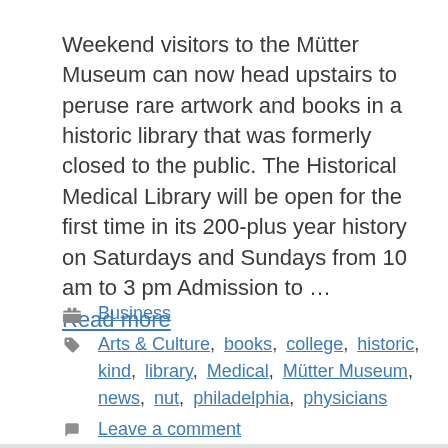Weekend visitors to the Mütter Museum can now head upstairs to peruse rare artwork and books in a historic library that was formerly closed to the public. The Historical Medical Library will be open for the first time in its 200-plus year history on Saturdays and Sundays from 10 am to 3 pm Admission to … Read more
Business
Arts & Culture, books, college, historic, kind, library, Medical, Mütter Museum, news, nut, philadelphia, physicians
Leave a comment